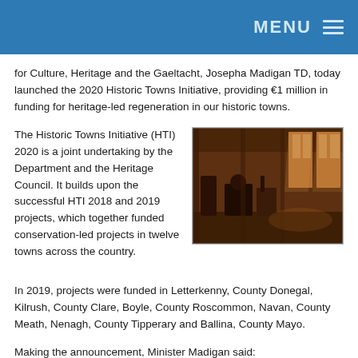MENU
for Culture, Heritage and the Gaeltacht, Josepha Madigan TD, today launched the 2020 Historic Towns Initiative, providing €1 million in funding for heritage-led regeneration in our historic towns.
[Figure (photo): Interior of an old industrial building with machinery, large windows letting in light, rustic brown tones.]
The Historic Towns Initiative (HTI) 2020 is a joint undertaking by the Department and the Heritage Council. It builds upon the successful HTI 2018 and 2019 projects, which together funded conservation-led projects in twelve towns across the country.
In 2019, projects were funded in Letterkenny, County Donegal, Kilrush, County Clare, Boyle, County Roscommon, Navan, County Meath, Nenagh, County Tipperary and Ballina, County Mayo.
Making the announcement, Minister Madigan said:
I am delighted to launch another year of the Historic Towns Initiative, which will support the